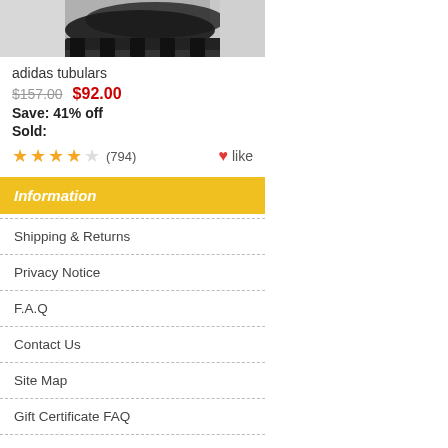[Figure (photo): Partial product photo of adidas tubulars shoes, showing bottom/sole portion, dark colored shoes on light background]
adidas tubulars
$157.00  $92.00
Save: 41% off
Sold:
★★★★☆ (794)  ♥like
Information
Shipping & Returns
Privacy Notice
F.A.Q
Contact Us
Site Map
Gift Certificate FAQ
Discount Coupons
Newsletter Unsubscribe